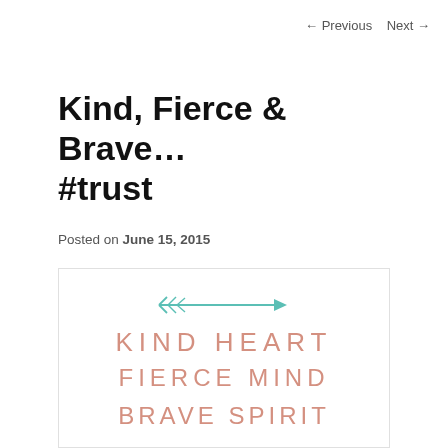← Previous   Next →
Kind, Fierce & Brave... #trust
Posted on June 15, 2015
[Figure (illustration): Decorative inspirational quote image with a teal arrow at the top and text reading 'KIND HEART / FIERCE MIND / BRAVE SPIRIT' in a salmon/peach uppercase hand-drawn style font on a white background.]